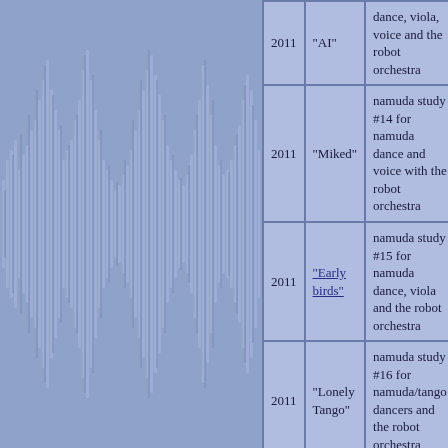[Figure (other): Blue/purple waveform visualization decorating the left side of the page]
| Year | Title | Description | Num |
| --- | --- | --- | --- |
| 2011 | "AI" | dance, viola, voice and the robot orchestra | 7 |
| 2011 | "Miked" | namuda study #14 for namuda dance and voice with the robot orchestra | 4 |
| 2011 | "Early birds" | namuda study #15 for namuda dance, viola and the robot orchestra | 4 |
| 2011 | "Lonely Tango" | namuda study #16 for namuda/tango dancers and the robot orchestra | 6 |
| 2011 | "Spirals for Spiro" | namuda study #17 for namuda dance, viola and the spiro robot | 8 |